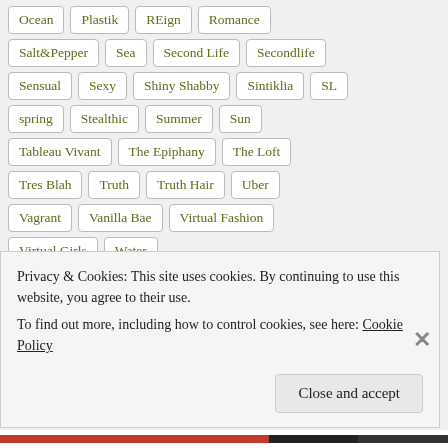Ocean | Plastik | REign | Romance
Salt&Pepper | Sea | Second Life | Secondlife
Sensual | Sexy | Shiny Shabby | Sintiklia | SL
spring | Stealthic | Summer | Sun
Tableau Vivant | The Epiphany | The Loft
Tres Blah | Truth | Truth Hair | Uber
Vagrant | Vanilla Bae | Virtual Fashion
Virtual Girls | Water
Privacy & Cookies: This site uses cookies. By continuing to use this website, you agree to their use.
To find out more, including how to control cookies, see here: Cookie Policy
Close and accept